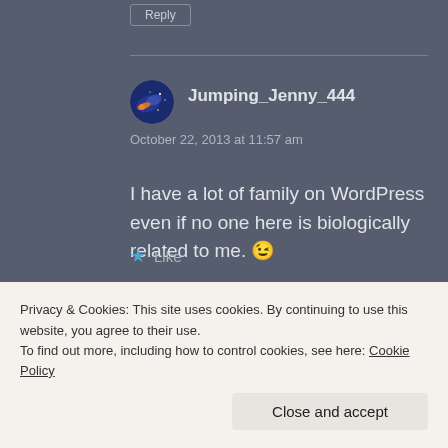Reply
Jumping_Jenny_444
October 22, 2013 at 11:57 am
I have a lot of family on WordPress even if no one here is biologically related to me. 😉
Like
[Figure (photo): Partial view of an image strip showing a light-colored section and a hand on a keyboard]
Privacy & Cookies: This site uses cookies. By continuing to use this website, you agree to their use.
To find out more, including how to control cookies, see here: Cookie Policy
Close and accept